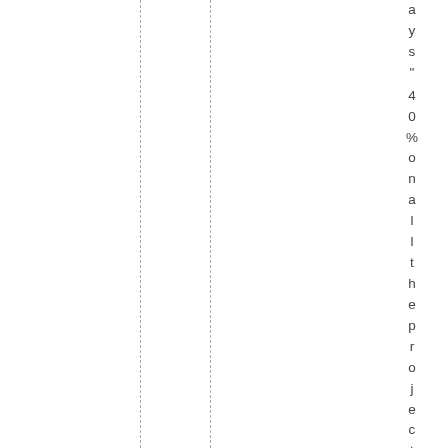ays" 40% on all the projects wh